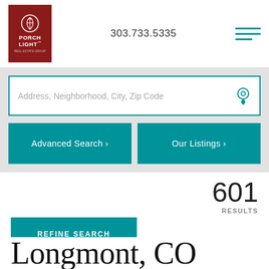[Figure (logo): Porch Light Real Estate Group logo - dark red background with white lantern icon and text PORCH LIGHT]
303.733.5335
Address, Neighborhood, City, Zip Code
Advanced Search >
Our Listings >
601
RESULTS
REFINE SEARCH
Longmont, CO